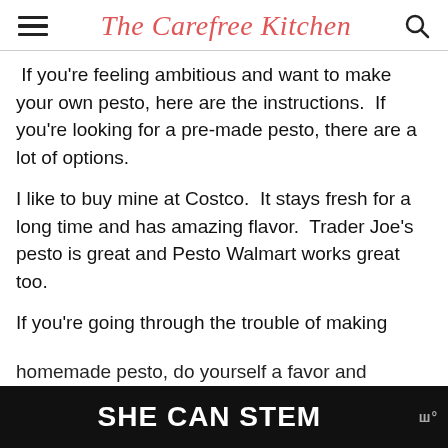The Carefree Kitchen
If you're feeling ambitious and want to make your own pesto, here are the instructions.  If you're looking for a pre-made pesto, there are a lot of options.
I like to buy mine at Costco.  It stays fresh for a long time and has amazing flavor.  Trader Joe's pesto is great and Pesto Walmart works great too.
If you're going through the trouble of making homemade pesto, do yourself a favor and d[...]
[Figure (other): Advertisement banner reading 'SHE CAN STEM' with a small logo on the right side against a dark background]